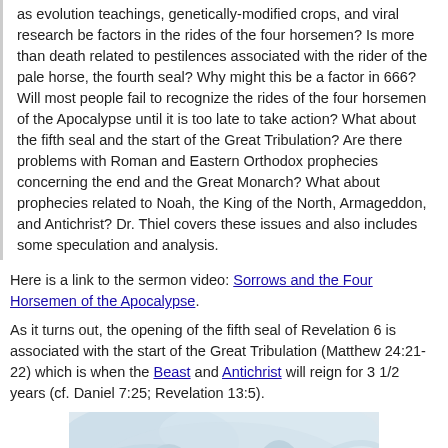as evolution teachings, genetically-modified crops, and viral research be factors in the rides of the four horsemen? Is more than death related to pestilences associated with the rider of the pale horse, the fourth seal? Why might this be a factor in 666? Will most people fail to recognize the rides of the four horsemen of the Apocalypse until it is too late to take action? What about the fifth seal and the start of the Great Tribulation? Are there problems with Roman and Eastern Orthodox prophecies concerning the end and the Great Monarch? What about prophecies related to Noah, the King of the North, Armageddon, and Antichrist? Dr. Thiel covers these issues and also includes some speculation and analysis.
Here is a link to the sermon video: Sorrows and the Four Horsemen of the Apocalypse.
As it turns out, the opening of the fifth seal of Revelation 6 is associated with the start of the Great Tribulation (Matthew 24:21-22) which is when the Beast and Antichrist will reign for 3 1/2 years (cf. Daniel 7:25; Revelation 13:5).
[Figure (illustration): A painting showing pale/light blue and white tones, depicting figures in a loose impressionistic style, partially cropped at the bottom of the page.]